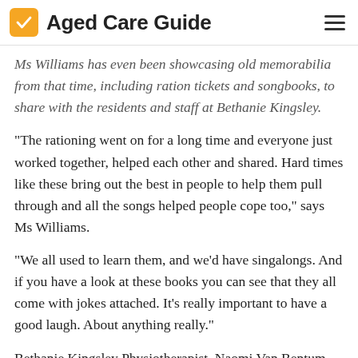Aged Care Guide
Ms Williams has even been showcasing old memorabilia from that time, including ration tickets and songbooks, to share with the residents and staff at Bethanie Kingsley.
"The rationing went on for a long time and everyone just worked together, helped each other and shared. Hard times like these bring out the best in people to help them pull through and all the songs helped people cope too," says Ms Williams.
"We all used to learn them, and we'd have singalongs. And if you have a look at these books you can see that they all come with jokes attached. It's really important to have a good laugh. About anything really."
Bethanie Kingsley Physiotherapist, Naomi Van Bentum, adds that, "We already have a few comedian residents who tell us a joke as we pass them in the hallway, we'll just share it around a